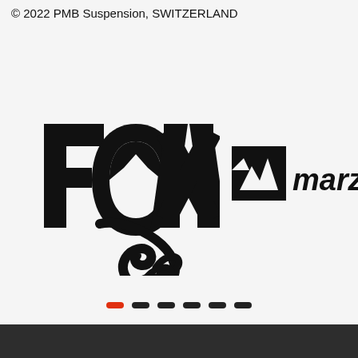© 2022 PMB Suspension, SWITZERLAND
[Figure (logo): FOX suspension brand logo — bold black letters F, O (with fox tail graphic), X; stylized fox tail swoosh below]
[Figure (logo): Marzocchi brand logo — black square icon with mountain/lightning graphic, italic text 'marzo' (partially cropped)]
[Figure (infographic): Navigation dots — six short rectangular dots in a row, first dot is red/orange (active), remaining five are dark/black]